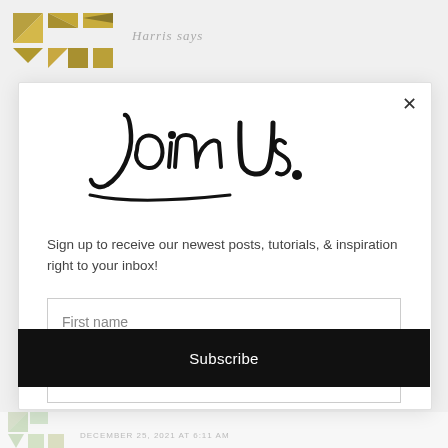[Figure (logo): Gold/olive geometric quilt-pattern logo mark]
Harris says
[Figure (illustration): Handwritten script text reading 'Join Us.' in large black brush lettering]
Sign up to receive our newest posts, tutorials, & inspiration right to your inbox!
First name
Email address
Subscribe
[Figure (logo): Faded green/gold geometric quilt-pattern logo at bottom left]
DECEMBER 25, 2021 AT 6:11 AM